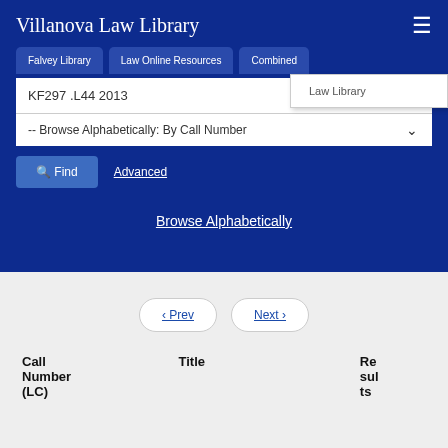Villanova Law Library
Falvey Library | Law Online Resources | Combined | Law Library
KF297 .L44 2013
-- Browse Alphabetically: By Call Number
Find   Advanced
Browse Alphabetically
‹ Prev   Next ›
| Call Number (LC) | Title | Results |
| --- | --- | --- |